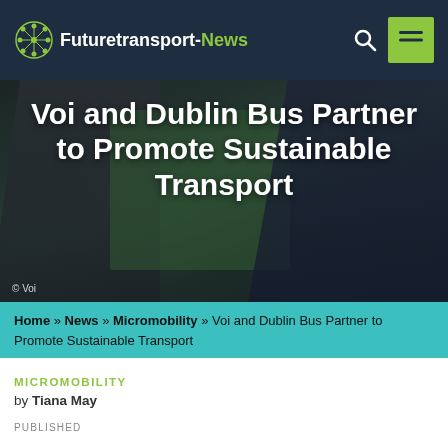Futuretransport-News
[Figure (photo): Two people in suits on e-scooters with a green Dublin Bus background. Hero image for article about Voi and Dublin Bus partnership.]
Voi and Dublin Bus Partner to Promote Sustainable Transport
© Voi
Home » News » Micromobility » Voi and Dublin Bus Partner to Promote Sustainable Transport
MICROMOBILITY
by Tiana May
PUBLISHED